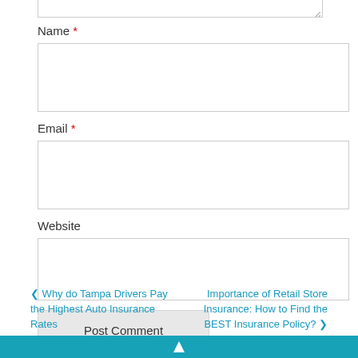[Figure (screenshot): Partial textarea input box at the top of the page, with resize handle at bottom-right corner]
Name *
[Figure (screenshot): Empty text input field for Name]
Email *
[Figure (screenshot): Empty text input field for Email]
Website
[Figure (screenshot): Empty text input field for Website]
[Figure (screenshot): Post Comment button, gray background]
‹ Why do Tampa Drivers Pay the Highest Auto Insurance Rates
Importance of Retail Store Insurance: How to Find the BEST Insurance Policy? ›
[Figure (screenshot): Teal/cyan colored bar at the bottom with a white icon]